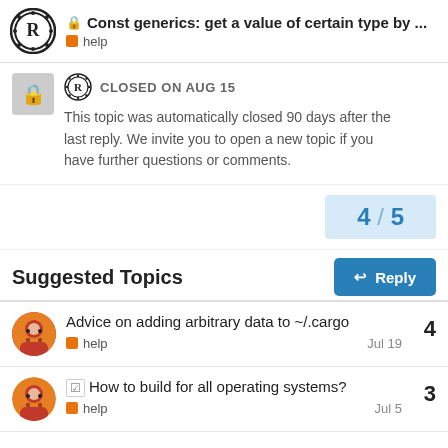Const generics: get a value of certain type by ... | help
CLOSED ON AUG 15
This topic was automatically closed 90 days after the last reply. We invite you to open a new topic if you have further questions or comments.
4 / 5
Reply
Suggested Topics
Advice on adding arbitrary data to ~/.cargo
help
Jul 19
4
How to build for all operating systems?
help
Jul 5
3